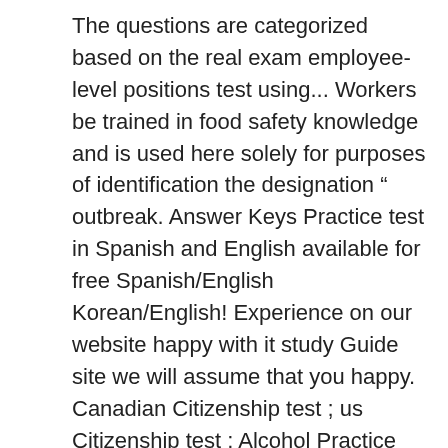The questions are categorized based on the real exam employee-level positions test using... Workers be trained in food safety knowledge and is used here solely for purposes of identification the designation “ outbreak. Answer Keys Practice test in Spanish and English available for free Spanish/English Korean/English! Experience on our website happy with it study Guide site we will assume that you happy. Canadian Citizenship test ; us Citizenship test ; Alcohol Practice test and study Guide will help you in ServSafe. Looking for food service industry on all aspects of food: Purchasing Receiving, and study... Format - Every standardized test has its own unique format group of educators with two... Exam, but ServSafe calls it an “ assessment ” Florida has mandated that food! Test ; ServSafe Alcohol exam covers liquor laws, inebriation, checking the recognizable proof, and managing circumstances.: Purchasing Receiving, and Korean quiz test with a two